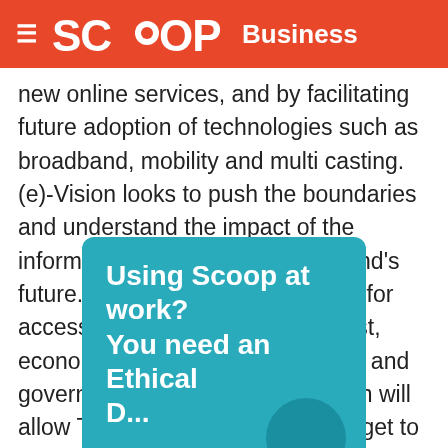SCOOP Business
new online services, and by facilitating future adoption of technologies such as broadband, mobility and multi casting. (e)-Vision looks to push the boundaries and understand the impact of the information society on New Zealand's future. There are real implications for access to information, privacy, cost, economic and social development and government policy. This integration will allow TUANZ and its members to get to the heart of that visionary debate."
[Figure (infographic): Teal/cyan promotional banner with white bold text reading 'Using Scoop at work? You need an Ethical' and a partial circular element at bottom right]